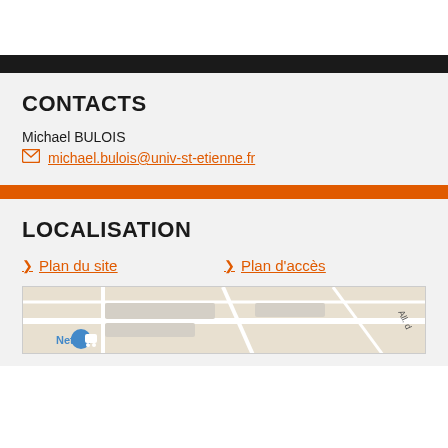CONTACTS
Michael BULOIS
michael.bulois@univ-st-etienne.fr
LOCALISATION
Plan du site
Plan d'accès
[Figure (map): Street map showing location near Netto store]